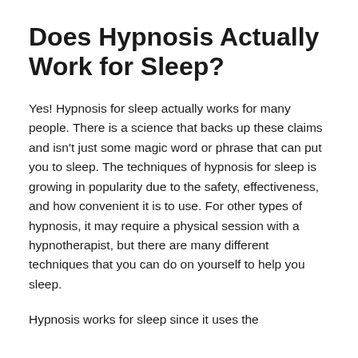Does Hypnosis Actually Work for Sleep?
Yes! Hypnosis for sleep actually works for many people. There is a science that backs up these claims and isn't just some magic word or phrase that can put you to sleep. The techniques of hypnosis for sleep is growing in popularity due to the safety, effectiveness, and how convenient it is to use. For other types of hypnosis, it may require a physical session with a hypnotherapist, but there are many different techniques that you can do on yourself to help you sleep.
Hypnosis works for sleep since it uses the